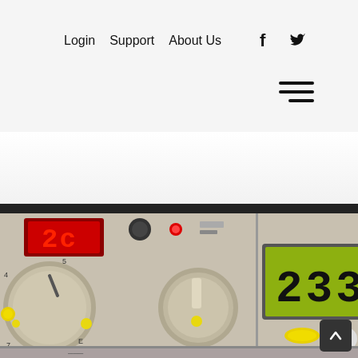Login  Support  About Us
[Figure (photo): Close-up photograph of a heating boiler control panel with dials, knobs, buttons, a red LED display showing '2c', and a green LCD display showing '2331'. Various control elements including rotary knobs, indicator lights, and buttons are visible.]